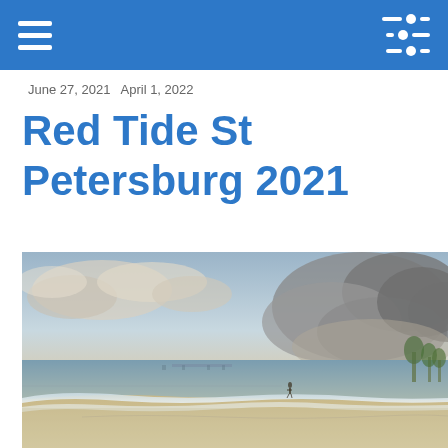navigation bar with hamburger menu and sliders icon
June 27, 2021  April 1, 2022
Red Tide St Petersburg 2021
[Figure (photo): Wide beach scene with a person walking along the shoreline. Calm ocean water with small waves on the left, sandy beach on the right. Dramatic cloudy sky with a large cloud formation on the right side. Warm golden light, likely at dusk or dawn.]